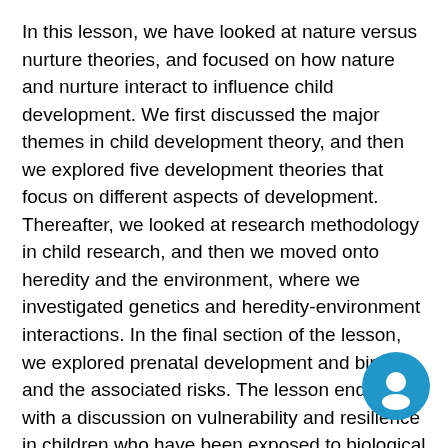In this lesson, we have looked at nature versus nurture theories, and focused on how nature and nurture interact to influence child development. We first discussed the major themes in child development theory, and then we explored five development theories that focus on different aspects of development. Thereafter, we looked at research methodology in child research, and then we moved onto heredity and the environment, where we investigated genetics and heredity-environment interactions. In the final section of the lesson, we explored prenatal development and birth and the associated risks. The lesson ended with a discussion on vulnerability and resilience in children who have been exposed to biological and environmental adversities.
KEY TERMS